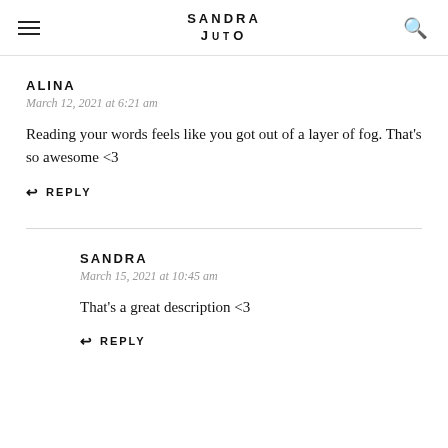SANDRA JUTO
ALINA
March 12, 2021 at 6:21 am
Reading your words feels like you got out of a layer of fog. That's so awesome <3
↩ REPLY
SANDRA
March 15, 2021 at 10:45 am
That's a great description <3
↩ REPLY